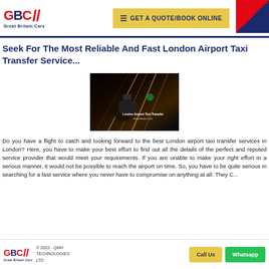[Figure (logo): GBC Great Britain Cars logo with red and blue colors and double slash marks]
GET A QUOTE/BOOK ONLINE
Seek For The Most Reliable And Fast London Airport Taxi Transfer Service...
[Figure (photo): Night photo of a car side mirror with city lights streaking in the background, with overlay text 'London Airport Taxi Transfer']
Do you have a flight to catch and looking forward to the best London airport taxi transfer services in London? Here, you have to make your best effort to find out all the details of the perfect and reputed service provider that would meet your requirements. If you are unable to make your right effort in a serious manner, it would not be possible to reach the airport on time. So, you have to be quite serious in searching for a fast service where you never have to compromise on anything at all. They C...
[Figure (logo): GBC Great Britain Cars footer logo]
© 2022 - QMH TECHNOLOGIES LTD
Call Us
Whatsapp